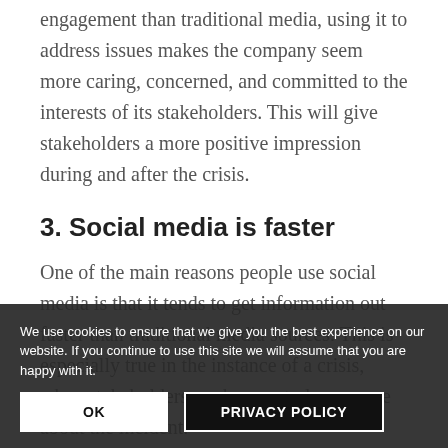engagement than traditional media, using it to address issues makes the company seem more caring, concerned, and committed to the interests of its stakeholders. This will give stakeholders a more positive impression during and after the crisis.
3. Social media is faster
One of the main reasons people use social media is that it tends to get information out faster than traditional media sources. This is especially true in the instance of a crisis, when stakeholders are hungry to learn more about the incident.
Companies can also respond to a growing crisis faster than and may be seen as if
We use cookies to ensure that we give you the best experience on our website. If you continue to use this site we will assume that you are happy with it.